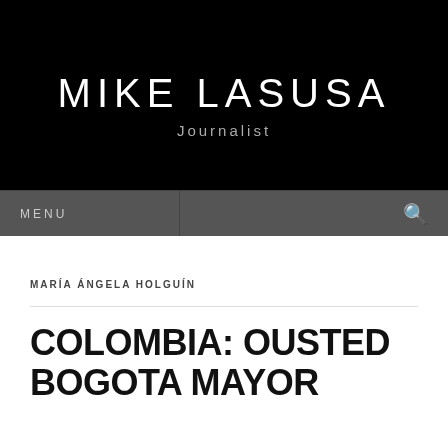MIKE LASUSA
Journalist
MENU
MARÍA ÁNGELA HOLGUÍN
COLOMBIA: OUSTED BOGOTA MAYOR